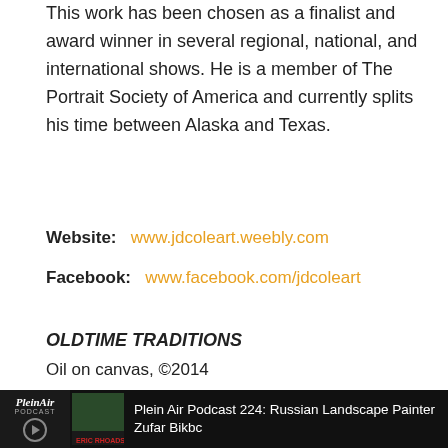This work has been chosen as a finalist and award winner in several regional, national, and international shows. He is a member of The Portrait Society of America and currently splits his time between Alaska and Texas.
Website:   www.jdcoleart.weebly.com
Facebook:   www.facebook.com/jdcoleart
OLDTIME TRADITIONS
Oil on canvas, ©2014
Private collection
49in H x 39in W
STUFF BROKER
Oil on canvas, ©2014
$1600.00
Plein Air Podcast 224: Russian Landscape Painter Zufar Bikbc